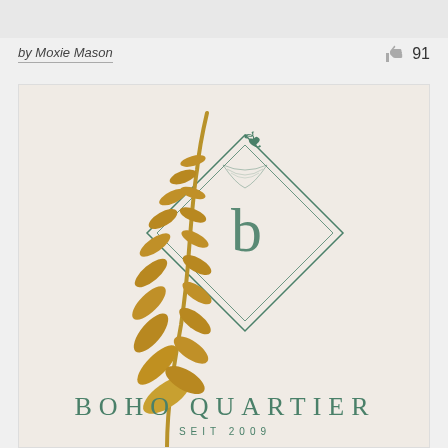by Moxie Mason
👍 91
[Figure (logo): Boho Quartier brand logo featuring a diamond/rhombus frame with decorative flourish at top, stylized 'b' monogram in the center, gold botanical branch element overlapping on the left side. Text reads 'BOHO QUARTIER' and 'SEIT 2009' at the bottom in teal/sage green.]